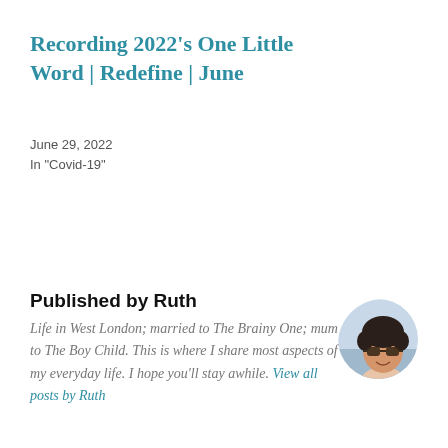Recording 2022's One Little Word | Redefine | June
June 29, 2022
In "Covid-19"
Published by Ruth
Life in West London; married to The Brainy One; mum to The Boy Child. This is where I share most aspects of my everyday life. I hope you'll stay awhile. View all posts by Ruth
[Figure (photo): Circular avatar photo of Ruth wearing sunglasses, smiling, with short dark hair, outdoors]